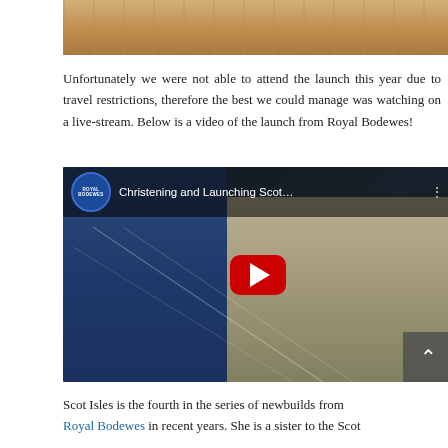[Figure (photo): Partial view of a shipyard or railway area, cropped at top of page]
Unfortunately we were not able to attend the launch this year due to travel restrictions, therefore the best we could manage was watching on a live-stream. Below is a video of the launch from Royal Bodewes!
[Figure (screenshot): YouTube video thumbnail showing a woman at a podium with the Royal Bodewes logo and title 'Christening and Launching Scot...' with a red play button overlay]
Scot Isles is the fourth in the series of newbuilds from Royal Bodewes in recent years. She is a sister to the Scot